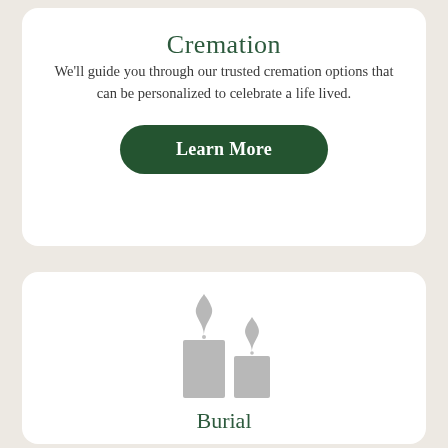Cremation
We'll guide you through our trusted cremation options that can be personalized to celebrate a life lived.
Learn More
[Figure (illustration): Two candle icons side by side, grey color, with flame shapes above each candle body]
Burial